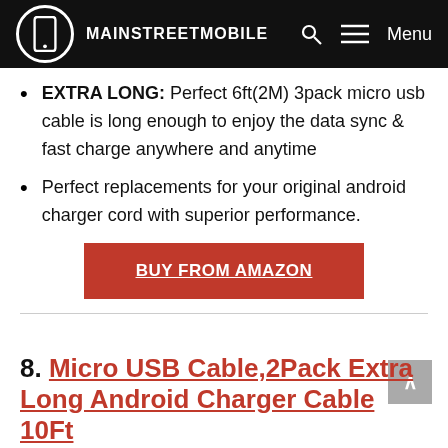MAINSTREETMOBILE
EXTRA LONG: Perfect 6ft(2M) 3pack micro usb cable is long enough to enjoy the data sync & fast charge anywhere and anytime
Perfect replacements for your original android charger cord with superior performance.
BUY FROM AMAZON
8. Micro USB Cable,2Pack Extra Long Android Charger Cable 10Ft